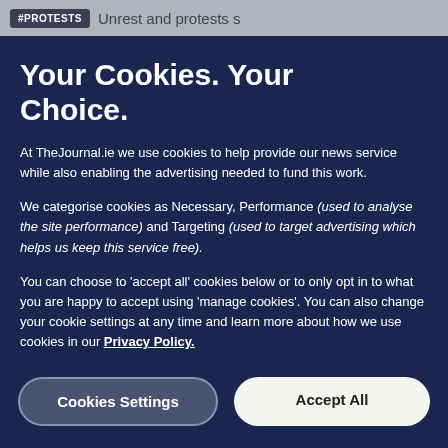#PROTESTS  Unrest and protests s
Your Cookies. Your Choice.
At TheJournal.ie we use cookies to help provide our news service while also enabling the advertising needed to fund this work.
We categorise cookies as Necessary, Performance (used to analyse the site performance) and Targeting (used to target advertising which helps us keep this service free).
You can choose to 'accept all' cookies below or to only opt in to what you are happy to accept using 'manage cookies'. You can also change your cookie settings at any time and learn more about how we use cookies in our Privacy Policy.
Cookies Settings
Accept All